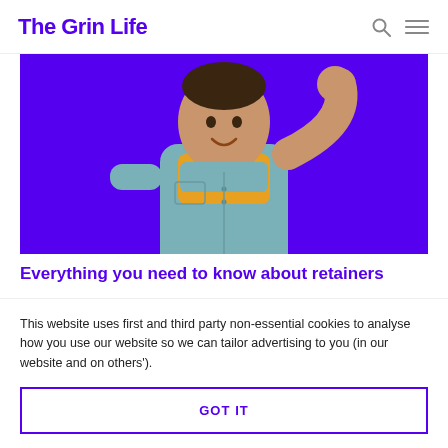The Grin Life
[Figure (photo): Man with a grin/smile pose, wearing a blue-grey shirt over a yellow top, against a bright purple background]
Everything you need to know about retainers
After achieving your new, winning smile, you don't want to undo all that work. That's where
This website uses first and third party non-essential cookies to analyse how you use our website so we can tailor advertising to you (in our website and on others').
GOT IT